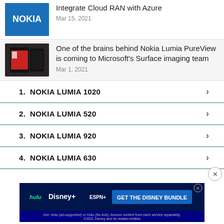Integrate Cloud RAN with Azure
Mar 15, 2021
One of the brains behind Nokia Lumia PureView is coming to Microsoft's Surface imaging team
Mar 1, 2021
1.  NOKIA LUMIA 1020
2.  NOKIA LUMIA 520
3.  NOKIA LUMIA 920
4.  NOKIA LUMIA 630
[Figure (screenshot): Hulu Disney+ ESPN+ GET THE DISNEY BUNDLE advertisement banner]